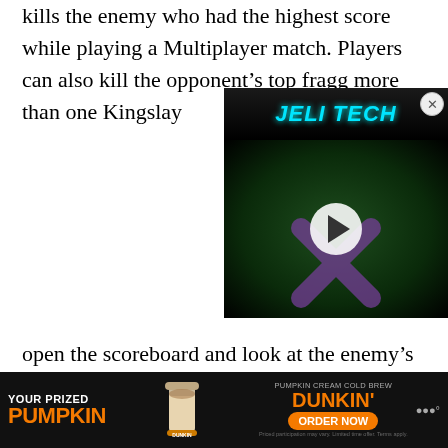kills the enemy who had the highest score while playing a Multiplayer match. Players can also kill the opponent's top fragger more than one Kingslayer
[Figure (other): Video player overlay showing a gaming-related video with a play button, dark background with green tones, purple X graphic, and stylized cyan/white JELI TECH title text at top.]
Once you dive in a COD M open the scoreboard and look at the enemy's name, who has the highest kills. As soon as you defeat him, the medal will be displayed under the match score.
Repeat the process five times in order to complete the fifth stage of the Gold or Nothing ch...
[Figure (other): Advertisement banner for Dunkin' Pumpkin Cream Gold Brew. Dark background with orange text 'YOUR PRIZED PUMPKIN', image of a Dunkin' drink, and 'ORDER NOW' button.]